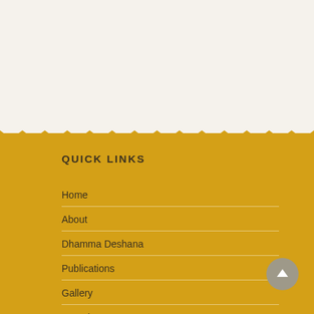QUICK LINKS
Home
About
Dhamma Deshana
Publications
Gallery
Donations
Contact